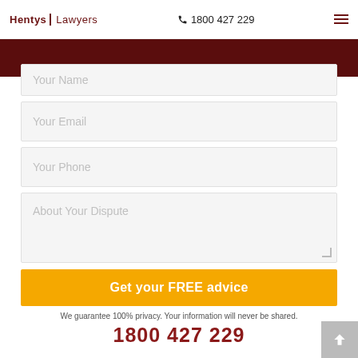Hentys Lawyers | 1800 427 229
[Figure (screenshot): Dark maroon banner at top of contact form page]
Your Name
Your Email
Your Phone
About Your Dispute
Get your FREE advice
We guarantee 100% privacy. Your information will never be shared.
1800 427 229